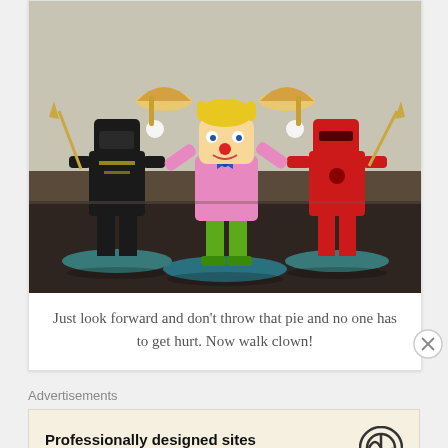[Figure (photo): Three LEGO minifigures on circular bases on a dark table. Center: Krusty the Clown figure in pink shirt and green pants holding a pie overhead. Left: black ninja figure. Right: red ninja figure.]
Just look forward and don't throw that pie and no one has to get hurt. Now walk clown!
Advertisements
Professionally designed sites in less than a week